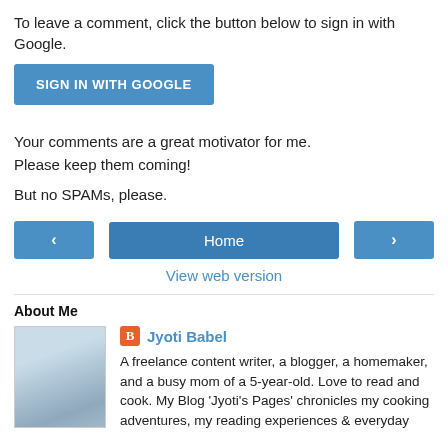To leave a comment, click the button below to sign in with Google.
[Figure (other): Blue button labeled SIGN IN WITH GOOGLE]
Your comments are a great motivator for me. Please keep them coming!
But no SPAMs, please.
[Figure (other): Navigation row with left arrow button, Home button, and right arrow button]
View web version
About Me
[Figure (photo): Photo of Jyoti Babel, a woman in a light blue outfit]
Jyoti Babel
A freelance content writer, a blogger, a homemaker, and a busy mom of a 5-year-old. Love to read and cook. My Blog 'Jyoti's Pages' chronicles my cooking adventures, my reading experiences & everyday